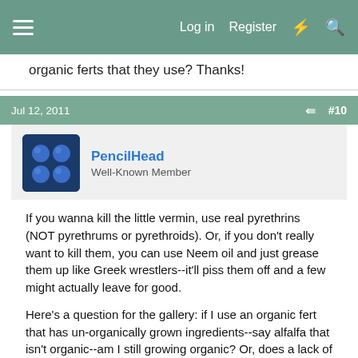Log in  Register
organic ferts that they use? Thanks!
Jul 12, 2011   #10
PencilHead
Well-Known Member
If you wanna kill the little vermin, use real pyrethrins (NOT pyrethrums or pyrethroids). Or, if you don't really want to kill them, you can use Neem oil and just grease them up like Greek wrestlers--it'll piss them off and a few might actually leave for good.

Here's a question for the gallery: if I use an organic fert that has un-organically grown ingredients--say alfalfa that isn't organic--am I still growing organic? Or, does a lack of non-mineral ingredients make something organic nowadays? I know that when you buy